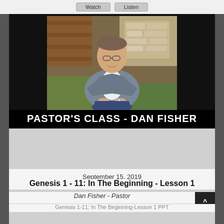[Figure (screenshot): Top bar with Watch and Listen buttons on a light gray background]
[Figure (photo): Portrait photo of Pastor Dan Fisher, a middle-aged man wearing a gray blazer and white shirt, seated outdoors near a wooden wagon wheel and stone wall. Below the photo is a black banner reading PASTOR'S CLASS - DAN FISHER in large white uppercase letters.]
September 15, 2019
Genesis 1 - 11: In The Beginning - Lesson 1
Dan Fisher - Pastor
Genesis 1-11: In The Beginning-Lesson 1 PPT